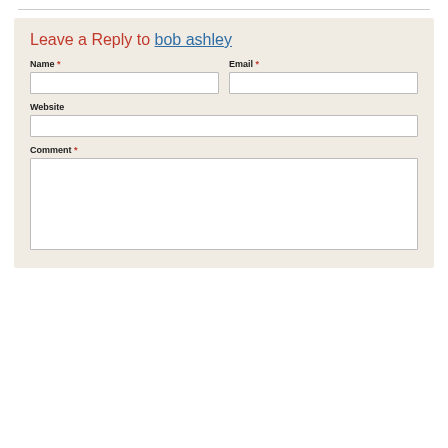Leave a Reply to bob ashley
Name *
Email *
Website
Comment *